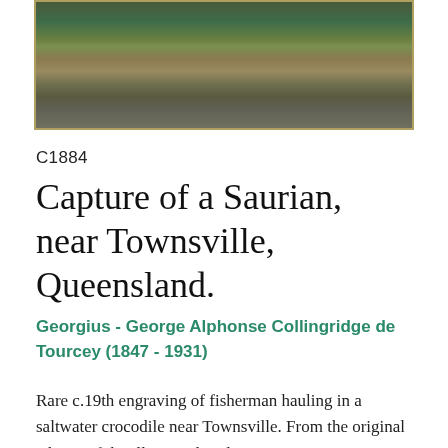[Figure (illustration): Antique engraving of a landscape scene with figures near water, possibly depicting the capture of a crocodile, framed with a light wooden or cream border. The image shows a river or wetland scene with dark foliage and muted earth tones.]
C1884
Capture of a Saurian, near Townsville, Queensland.
Georgius - George Alphonse Collingridge de Tourcey (1847 - 1931)
Rare c.19th engraving of fisherman hauling in a saltwater crocodile near Townsville. From the original edition of the Illustrated Sydney News.